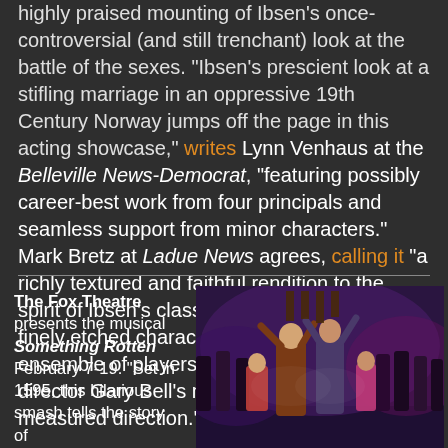highly praised mounting of Ibsen's once-controversial (and still trenchant) look at the battle of the sexes. "Ibsen's prescient look at a stifling marriage in an oppressive 19th Century Norway jumps off the page in this acting showcase," writes Lynn Venhaus at the Belleville News-Democrat, "featuring possibly career-best work from four principals and seamless support from minor characters." Mark Bretz at Ladue News agrees, calling it "a richly textured and faithful rendition to the spirit of Ibsen's classic work, bolstered with finely etched characterizations by an ensemble of players who benefit from artistic director Gary Bell's meticulous and carefully measured direction."
The Fox Theatre presents the musical Something Rotten February 7-19. "Set in 1595, this hilarious smash tells the story of
[Figure (photo): Stage production photo of Something Rotten musical, showing performers in period costumes with their arms raised on stage, colorful lighting]